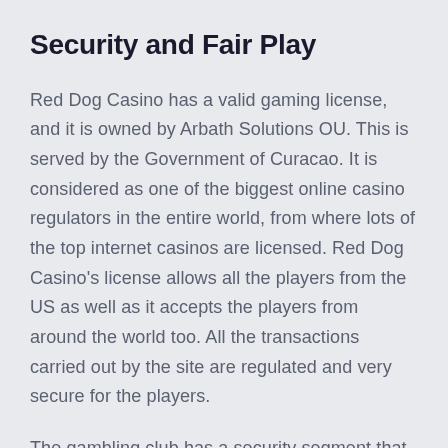Security and Fair Play
Red Dog Casino has a valid gaming license, and it is owned by Arbath Solutions OU. This is served by the Government of Curacao. It is considered as one of the biggest online casino regulators in the entire world, from where lots of the top internet casinos are licensed. Red Dog Casino’s license allows all the players from the US as well as it accepts the players from around the world too. All the transactions carried out by the site are regulated and very secure for the players.
The gambling club has a security segment that clarifies the means of Red Dog Casino and takes to guarantee players for their safety. There is